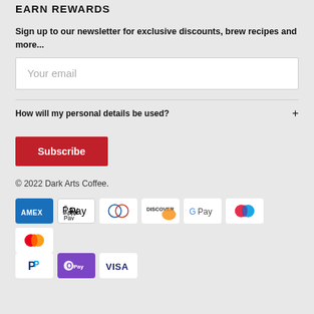EARN REWARDS
Sign up to our newsletter for exclusive discounts, brew recipes and more...
Your email
How will my personal details be used?
Subscribe
© 2022 Dark Arts Coffee.
[Figure (infographic): Payment method icons: American Express, Apple Pay, Diners Club, Discover, Google Pay, Maestro, Mastercard, PayPal, Shop Pay, Visa]